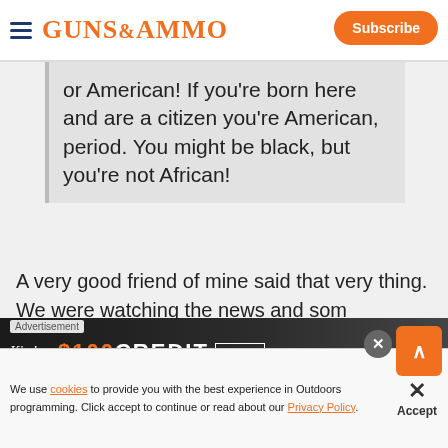GUNS&AMMO | Subscribe
or American! If you're born here and are a citizen you're American, period. You might be black, but you're not African!
A very good friend of mine said that very thing.
We were watching the news and someone referred to themselves as African...
[Figure (screenshot): Advertisement banner showing '$100 CREDIT' with Kimber and MAKO branding on dark background]
We use cookies to provide you with the best experience in Outdoors programming. Click accept to continue or read about our Privacy Policy.